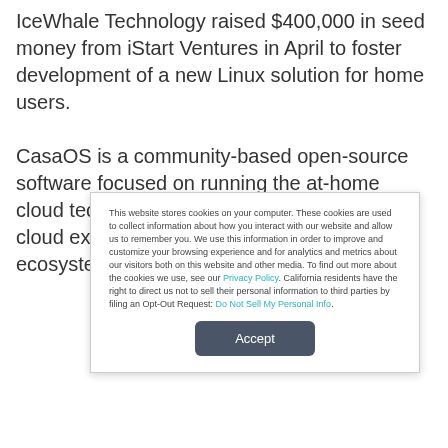IceWhale Technology raised $400,000 in seed money from iStart Ventures in April to foster development of a new Linux solution for home users.
CasaOS is a community-based open-source software focused on running the at-home cloud technology to deliver a simple home cloud experience around the Docker ecosystem.
This website stores cookies on your computer. These cookies are used to collect information about how you interact with our website and allow us to remember you. We use this information in order to improve and customize your browsing experience and for analytics and metrics about our visitors both on this website and other media. To find out more about the cookies we use, see our Privacy Policy. California residents have the right to direct us not to sell their personal information to third parties by filing an Opt-Out Request: Do Not Sell My Personal Info.